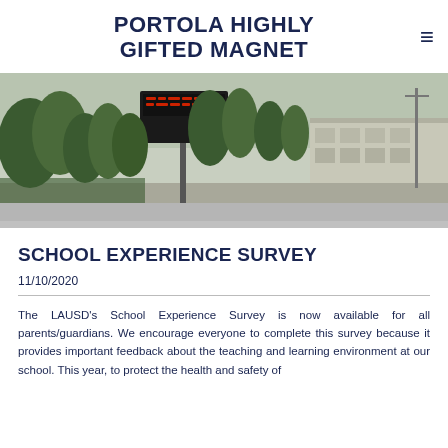PORTOLA HIGHLY GIFTED MAGNET
[Figure (photo): School exterior photo showing an LED sign, trees, and school building under a hazy sky.]
SCHOOL EXPERIENCE SURVEY
11/10/2020
The LAUSD's School Experience Survey is now available for all parents/guardians. We encourage everyone to complete this survey because it provides important feedback about the teaching and learning environment at our school. This year, to protect the health and safety of